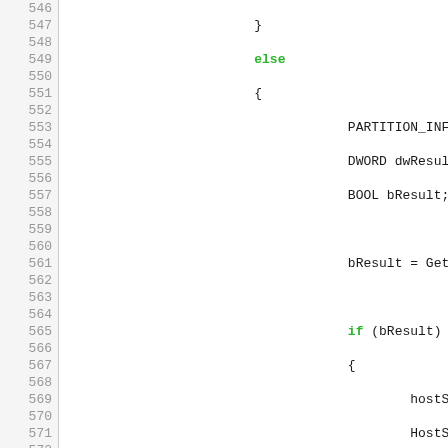[Figure (screenshot): Source code listing showing C/C++ code with line numbers 546-575. Lines show an else block with PARTITION_INFORMATION, DWORD dwResult, BOOL bResult declarations, GetPartition call, nested if/else blocks with hostSize and HostSectorSize assignments, BYTE dgBuffer, DeviceIoControl call, goto statement, and if (hostSize == 0) check.]